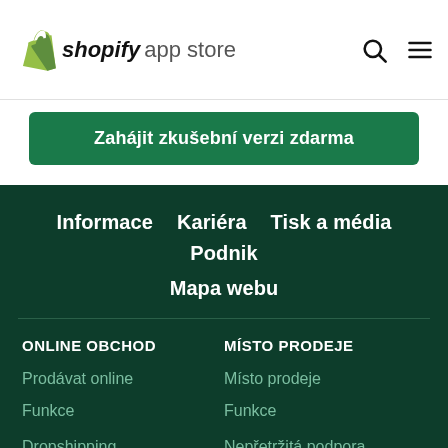shopify app store
Zahájit zkušební verzi zdarma
Informace   Kariéra   Tisk a média   Podnik   Mapa webu
ONLINE OBCHOD
MÍSTO PRODEJE
Prodávat online
Místo prodeje
Funkce
Funkce
Nemáte obchod Shopify?
Začněte se zkušební verzí zdarma →
Dropshipping
Nepřetržitá podpora